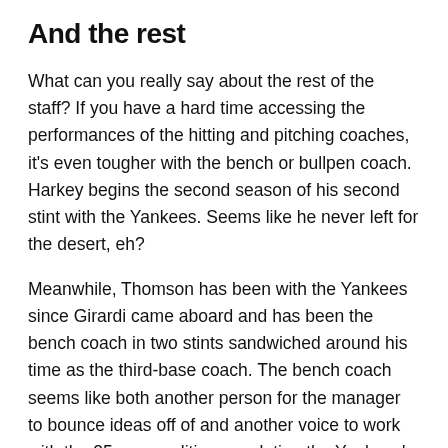And the rest
What can you really say about the rest of the staff? If you have a hard time accessing the performances of the hitting and pitching coaches, it’s even tougher with the bench or bullpen coach. Harkey begins the second season of his second stint with the Yankees. Seems like he never left for the desert, eh?
Meanwhile, Thomson has been with the Yankees since Girardi came aboard and has been the bench coach in two stints sandwiched around his time as the third-base coach. The bench coach seems like both another person for the manager to bounce ideas off of and another voice to work with the 25 personalities populating the Yankees’ clubhouse. Either way, Thomson has been solid